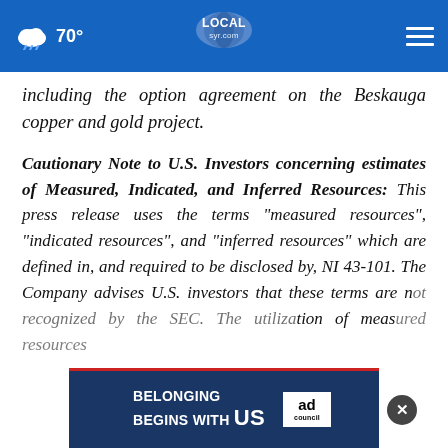70° LOCALsyr.com
including the option agreement on the Beskauga copper and gold project.
Cautionary Note to U.S. Investors concerning estimates of Measured, Indicated, and Inferred Resources: This press release uses the terms "measured resources", "indicated resources", and "inferred resources" which are defined in, and required to be disclosed by, NI 43-101. The Company advises U.S. investors that these terms are not recognized by the SEC. The utilization of measures inferred resources
[Figure (other): Ad banner: BELONGING BEGINS WITH US - Ad Council logo, with close button]